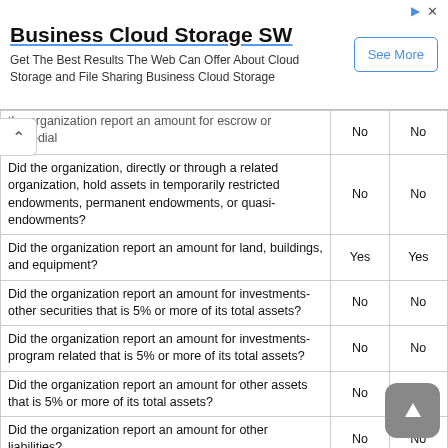[Figure (other): Advertisement banner for Business Cloud Storage SW with 'See More' button]
| Question | Col1 | Col2 |
| --- | --- | --- |
| the organization report an amount for escrow or custodial account liability; serve as a custodian or provide credit counseling, debt management, credit repair, or debt negotiation services? | No | No |
| Did the organization, directly or through a related organization, hold assets in temporarily restricted endowments, permanent endowments, or quasi-endowments? | No | No |
| Did the organization report an amount for land, buildings, and equipment? | Yes | Yes |
| Did the organization report an amount for investments-other securities that is 5% or more of its total assets? | No | No |
| Did the organization report an amount for investments-program related that is 5% or more of its total assets? | No | No |
| Did the organization report an amount for other assets that is 5% or more of its total assets? | No | No |
| Did the organization report an amount for other liabilities? | No | No |
| Did the organization's separate or consolidated financial statements for the tax year include a footnote that addresses the organization's liability for uncertain tax positions under FIN 48 (ASC 740)? | No | No |